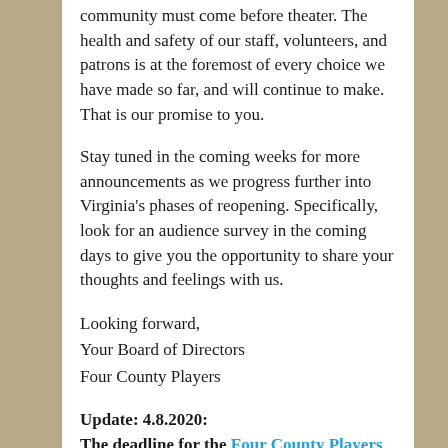community must come before theater. The health and safety of our staff, volunteers, and patrons is at the foremost of every choice we have made so far, and will continue to make. That is our promise to you.
Stay tuned in the coming weeks for more announcements as we progress further into Virginia's phases of reopening. Specifically, look for an audience survey in the coming days to give you the opportunity to share your thoughts and feelings with us.
Looking forward,
Your Board of Directors
Four County Players
Update: 4.8.2020:
The deadline for the Four County Players Founders Scholarship has been extended. Applications will be due on May 1